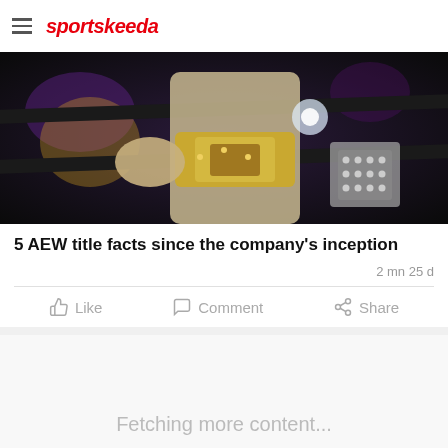sportskeeda
[Figure (photo): A wrestler holding a championship belt near the ring ropes, dark background with purple lighting]
5 AEW title facts since the company's inception
2 mn 25 d
Like  Comment  Share
Fetching more content...